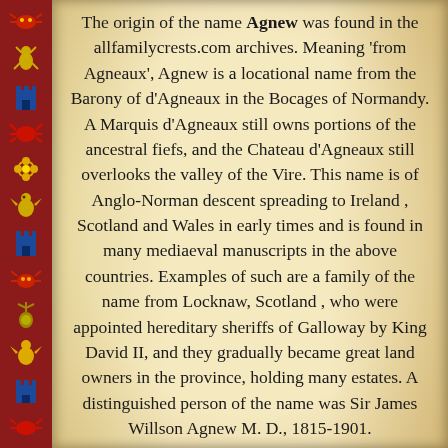[Figure (illustration): Left border with dark red background featuring a vertical strip of heraldic/family crest icons including crabs, castles, lobsters, and other heraldic symbols in blue, yellow, and red colors.]
The origin of the name Agnew was found in the allfamilycrests.com archives. Meaning 'from Agneaux', Agnew is a locational name from the Barony of d'Agneaux in the Bocages of Normandy. A Marquis d'Agneaux still owns portions of the ancestral fiefs, and the Chateau d'Agneaux still overlooks the valley of the Vire. This name is of Anglo-Norman descent spreading to Ireland , Scotland and Wales in early times and is found in many mediaeval manuscripts in the above countries. Examples of such are a family of the name from Locknaw, Scotland , who were appointed hereditary sheriffs of Galloway by King David II, and they gradually became great land owners in the province, holding many estates. A distinguished person of the name was Sir James Willson Agnew M. D., 1815-1901.